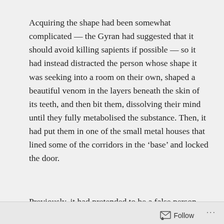Acquiring the shape had been somewhat complicated — the Gyran had suggested that it should avoid killing sapients if possible — so it had instead distracted the person whose shape it was seeking into a room on their own, shaped a beautiful venom in the layers beneath the skin of its teeth, and then bit them, dissolving their mind until they fully metabolised the substance. Then, it had put them in one of the small metal houses that lined some of the corridors in the 'base' and locked the door.
Previously, it had pretended to be a false person, one of many, but the greenish person who smelled of formaldehyde, the fuzzy person who smelled of carbolic, and the tall person who smelled of forests and blood had started searching for it among the false people. It had been about to flee, when an
Follow ···